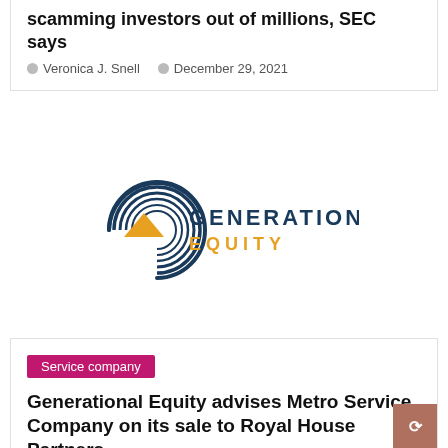scamming investors out of millions, SEC says
Veronica J. Snell   December 29, 2021
[Figure (logo): Generational Equity company logo — stylized G with concentric arcs in dark blue and a gold/orange triangle accent, with 'GENERATIONAL EQUITY' text in dark blue and gold.]
Service company
Generational Equity advises Metro Service Company on its sale to Royal House Partners